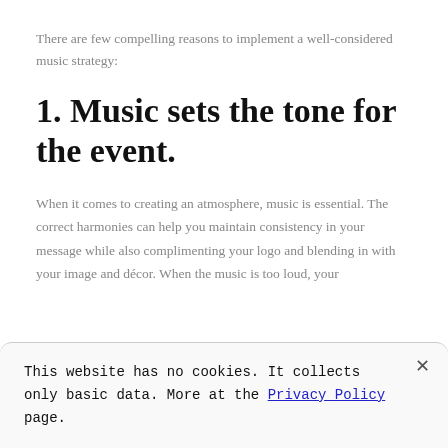There are few compelling reasons to implement a well-considered music strategy:
1. Music sets the tone for the event.
When it comes to creating an atmosphere, music is essential. The correct harmonies can help you maintain consistency in your message while also complimenting your logo and blending in with your image and décor. When the music is too loud, your
This website has no cookies. It collects only basic data. More at the Privacy Policy page.